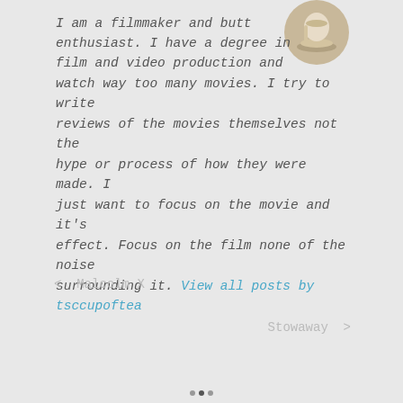[Figure (photo): Circular cropped profile photo in upper right corner showing what appears to be a cup or dish on a wooden surface]
I am a filmmaker and butt enthusiast. I have a degree in film and video production and watch way too many movies. I try to write reviews of the movies themselves not the hype or process of how they were made. I just want to focus on the movie and it's effect. Focus on the film none of the noise surrounding it. View all posts by tsccupoftea
< Malcolm X
Stowaway >